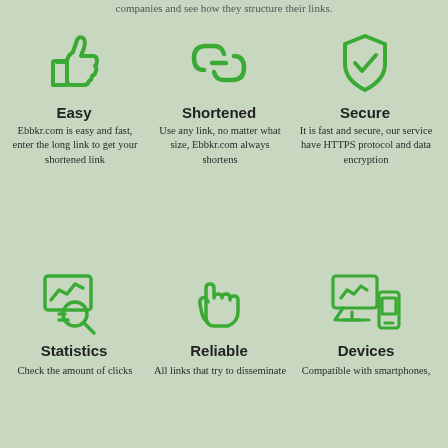companies and see how they structure their links.
[Figure (illustration): Green thumbs-up icon]
Easy
Ebbkr.com is easy and fast, enter the long link to get your shortened link
[Figure (illustration): Green chain link icon]
Shortened
Use any link, no matter what size, Ebbkr.com always shortens
[Figure (illustration): Green shield with checkmark icon]
Secure
It is fast and secure, our service have HTTPS protocol and data encryption
[Figure (illustration): Green analytics/magnifying glass icon]
Statistics
Check the amount of clicks
[Figure (illustration): Green hand/stop icon]
Reliable
All links that try to disseminate
[Figure (illustration): Green devices (tablet, phone, desktop) icon]
Devices
Compatible with smartphones,